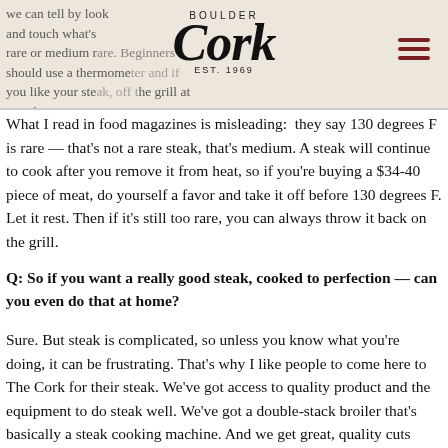we can tell by look and touch what's rare or medium rare. Beginners should use a thermometer and if you like your steak rare, off the grill at 124 degrees F. | BOULDER Cork EST. 1969
What I read in food magazines is misleading:  they say 130 degrees F is rare — that's not a rare steak, that's medium. A steak will continue to cook after you remove it from heat, so if you're buying a $34-40 piece of meat, do yourself a favor and take it off before 130 degrees F. Let it rest. Then if it's still too rare, you can always throw it back on the grill.
Q: So if you want a really good steak, cooked to perfection — can you even do that at home?
Sure. But steak is complicated, so unless you know what you're doing, it can be frustrating. That's why I like people to come here to The Cork for their steak. We've got access to quality product and the equipment to do steak well. We've got a double-stack broiler that's basically a steak cooking machine. And we get great, quality cuts